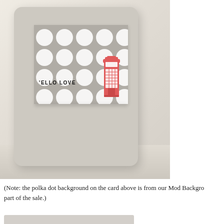[Figure (photo): A handmade greeting card with a beige/kraft cardstock background with rounded corners, featuring a gray polka dot panel with white circles, a red British telephone booth embellishment, and the text ''ELLO LOVE' stamped in black. The card is photographed against a light wooden surface.]
(Note: the polka dot background on the card above is from our Mod Backgro... part of the sale.)